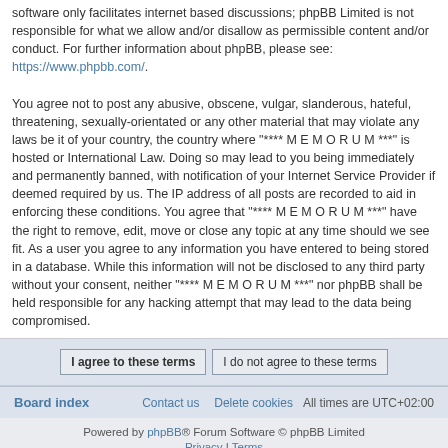software only facilitates internet based discussions; phpBB Limited is not responsible for what we allow and/or disallow as permissible content and/or conduct. For further information about phpBB, please see: https://www.phpbb.com/.
You agree not to post any abusive, obscene, vulgar, slanderous, hateful, threatening, sexually-orientated or any other material that may violate any laws be it of your country, the country where "**** M E M O R U M ***" is hosted or International Law. Doing so may lead to you being immediately and permanently banned, with notification of your Internet Service Provider if deemed required by us. The IP address of all posts are recorded to aid in enforcing these conditions. You agree that "**** M E M O R U M ***" have the right to remove, edit, move or close any topic at any time should we see fit. As a user you agree to any information you have entered to being stored in a database. While this information will not be disclosed to any third party without your consent, neither "**** M E M O R U M ***" nor phpBB shall be held responsible for any hacking attempt that may lead to the data being compromised.
I agree to these terms | I do not agree to these terms
Board index   Contact us   Delete cookies   All times are UTC+02:00
Powered by phpBB® Forum Software © phpBB Limited Privacy | Terms